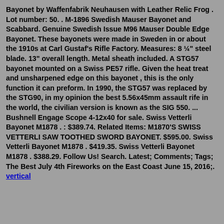Bayonet by Waffenfabrik Neuhausen with Leather Relic Frog . Lot number: 50. . M-1896 Swedish Mauser Bayonet and Scabbard. Genuine Swedish Issue M96 Mauser Double Edge Bayonet. These bayonets were made in Sweden in or about the 1910s at Carl Gustaf's Rifle Factory. Measures: 8 ¼" steel blade. 13" overall length. Metal sheath included. A STG57 bayonet mounted on a Swiss PE57 rifle. Given the heat treat and unsharpened edge on this bayonet , this is the only function it can preform. In 1990, the STG57 was replaced by the STG90, in my opinion the best 5.56x45mm assault rife in the world, the civilian version is known as the SIG 550. ... Bushnell Engage Scope 4-12x40 for sale. Swiss Vetterli Bayonet M1878 . : $389.74. Related Items: M1870'S SWISS VETTERLI SAW TOOTHED SWORD BAYONET. $595.00. Swiss Vetterli Bayonet M1878 . $419.35. Swiss Vetterli Bayonet M1878 . $388.29. Follow Us! Search. Latest; Comments; Tags; The Best July 4th Fireworks on the East Coast June 15, 2016;. vertical